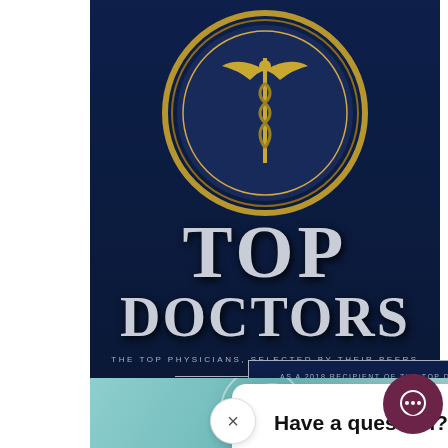[Figure (photo): Top Doctors book cover – dark navy blue background with gold medallion ring, caduceus symbol, large silver text reading TOP DOCTORS, subtitle THE TOP PHYSICIANS, SELECTED BY THEIR PEERS]
Have a question? Message us here!
[Figure (photo): Partial bottom image showing a medical/healthcare themed image with teal/aqua background, circular graphic overlays and a doctor in the background]